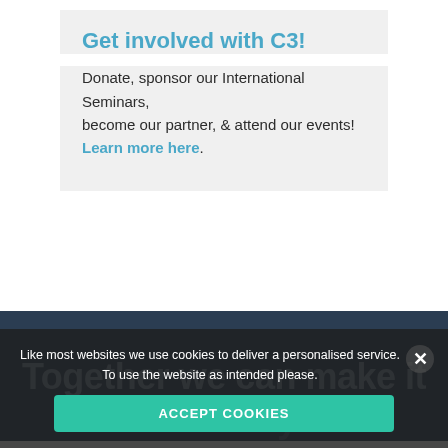Get involved with C3!
Donate, sponsor our International Seminars, become our partner, & attend our events! Learn more here.
Together we can make it easier to... hy live
Like most websites we use cookies to deliver a personalised service. To use the website as intended please.
ACCEPT COOKIES